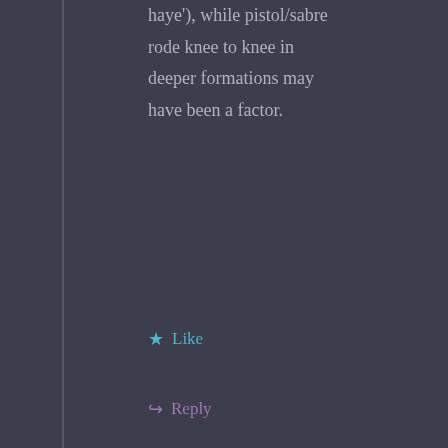haye'), while pistol/sabre rode knee to knee in deeper formations may have been a factor.
Like
Reply
Tudor
October 23, 2021 at 7:59 am
[Figure (illustration): Avatar icon for user Tudor, circular with red and white diamond/cross pattern]
Eastern armies did not employ pike formations for their infantry. Pikes,